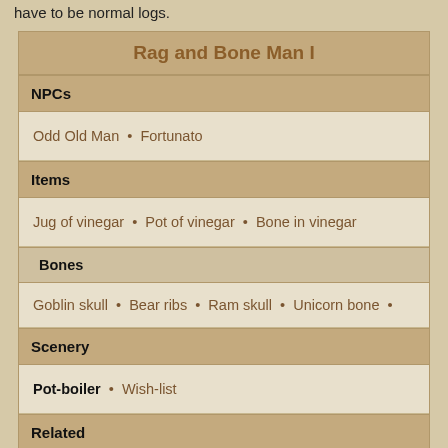have to be normal logs.
| Rag and Bone Man I |
| NPCs |
| Odd Old Man  •  Fortunato |
| Items |
| Jug of vinegar  •  Pot of vinegar  •  Bone in vinegar |
| Bones |
| Goblin skull  •  Bear ribs  •  Ram skull  •  Unicorn bone  • |
| Scenery |
| Pot-boiler  •  Wish-list |
| Related |
| Quick Guide  •  Transcript |